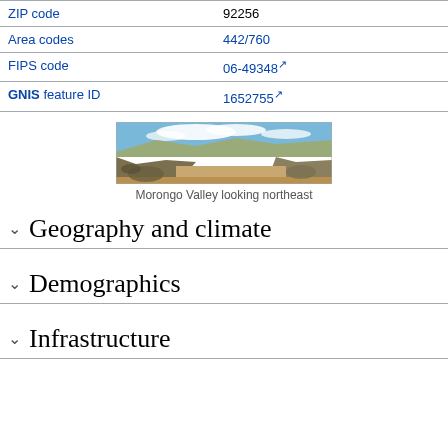| Field | Value |
| --- | --- |
| ZIP code | 92256 |
| Area codes | 442/760 |
| FIPS code | 06-49348 [external link] |
| GNIS feature ID | 1652755 [external link] |
[Figure (photo): Panoramic photo of Morongo Valley looking northeast, showing desert landscape with rocky hills, sparse vegetation, and blue sky with clouds]
Morongo Valley looking northeast
Geography and climate
Demographics
Infrastructure